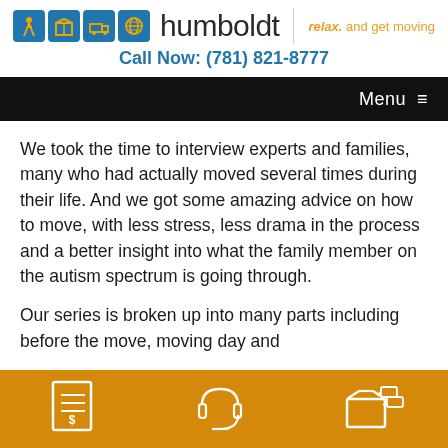[Figure (logo): Humboldt moving company logo with blue icon squares (person, box, truck, globe) and text 'humboldt | relax. and get moving']
Call Now: (781) 821-8777
Menu ≡
We took the time to interview experts and families, many who had actually moved several times during their life. And we got some amazing advice on how to move, with less stress, less drama in the process and a better insight into what the family member on the autism spectrum is going through.
Our series is broken up into many parts including before the move, moving day and
[Figure (illustration): Orange bottom navigation bar with three white outline icons: a receipt/invoice with dollar sign, a headset/headphones, and a box with tags]